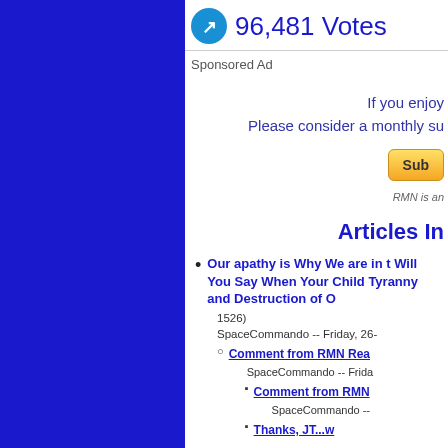96,481 Votes
Sponsored Ad
If you enjoy
Please consider a monthly su
[Figure (other): PayPal Subscribe button]
RMN is an
Articles In
Our apathy is Why We are in t Will You Say When Your Child Tyranny and Destruction of O 1526)
SpaceCommando -- Friday, 26-
Comment from RMN Rea SpaceCommando -- Frida
Comment from RMN SpaceCommando --
Thanks, JT...